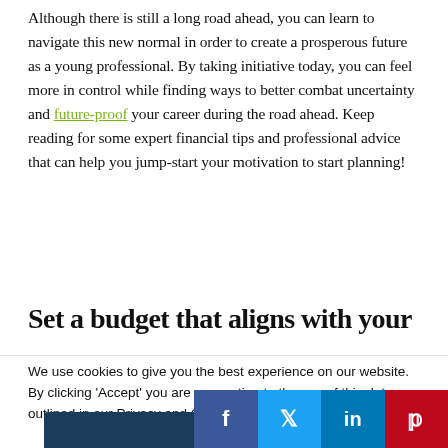Although there is still a long road ahead, you can learn to navigate this new normal in order to create a prosperous future as a young professional. By taking initiative today, you can feel more in control while finding ways to better combat uncertainty and future-proof your career during the road ahead. Keep reading for some expert financial tips and professional advice that can help you jump-start your motivation to start planning!
Set a budget that aligns with your
We use cookies to give you the best experience on our website. By clicking 'Accept' you are consenting to the use of this data as outlined in our Privacy and Cookie Policy.
Accept